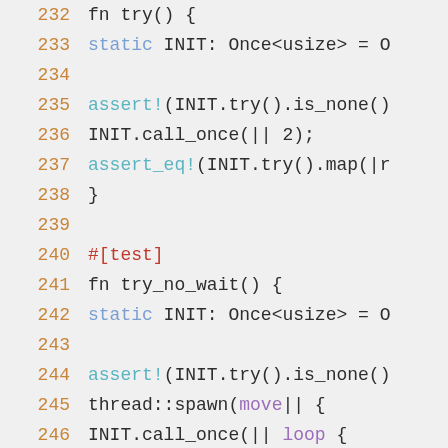[Figure (screenshot): Rust source code snippet showing lines 232-252, with syntax highlighting. Line numbers in orange, keywords in blue/purple, macros in teal, attributes in red.]